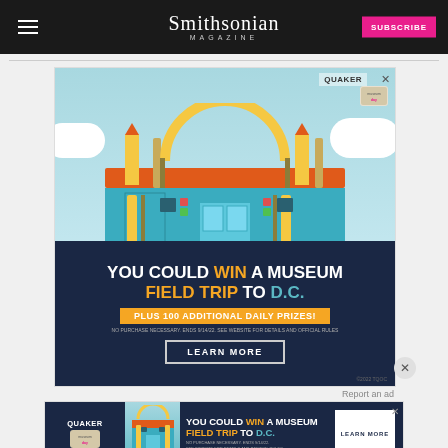Smithsonian Magazine | SUBSCRIBE
[Figure (illustration): Quaker Museum Day advertisement - colorful illustration of a school/museum building with pencils, rulers, protractor decorations against a light blue sky with clouds. Bottom dark blue section reads: YOU COULD WIN A MUSEUM FIELD TRIP TO D.C. PLUS 100 ADDITIONAL DAILY PRIZES! NO PURCHASE NECESSARY. ENDS 9/14/22. SEE WEBSITE FOR DETAILS AND OFFICIAL RULES. LEARN MORE. ©2022 TQOC]
[Figure (illustration): Smaller Quaker Museum Day banner advertisement with same content: YOU COULD WIN A MUSEUM FIELD TRIP TO D.C. LEARN MORE. NO PURCHASE NECESSARY. ENDS 9/14/22. SEE WEBSITE FOR DETAILS AND OFFICIAL RULES. ©2022 TQOC]